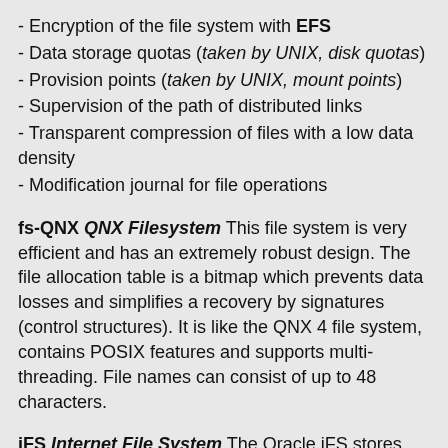- Encryption of the file system with EFS
- Data storage quotas (taken by UNIX, disk quotas)
- Provision points (taken by UNIX, mount points)
- Supervision of the path of distributed links
- Transparent compression of files with a low data density
- Modification journal for file operations
fs-QNX QNX Filesystem This file system is very efficient and has an extremely robust design. The file allocation table is a bitmap which prevents data losses and simplifies a recovery by signatures (control structures). It is like the QNX 4 file system, contains POSIX features and supports multi-threading. File names can consist of up to 48 characters.
iFS Internet File System The Oracle iFS stores files in an Oracle 9i database, but can manage also external files and include it in the general use and administration of files in the network as well as the extensive search function. The access is also possible over different protocols like HTTP, SMB, FTP and SMTP. All functions can be used only over